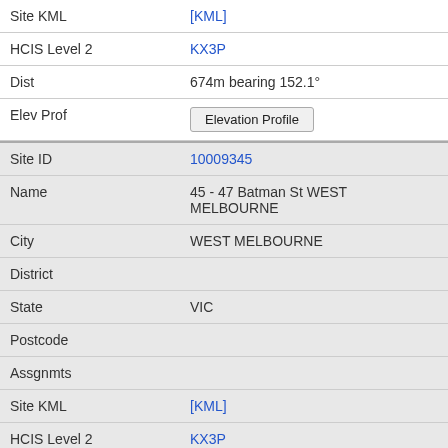| Field | Value |
| --- | --- |
| Site KML | [KML] |
| HCIS Level 2 | KX3P |
| Dist | 674m bearing 152.1° |
| Elev Prof | Elevation Profile |
| Site ID | 10009345 |
| Name | 45 - 47 Batman St WEST MELBOURNE |
| City | WEST MELBOURNE |
| District |  |
| State | VIC |
| Postcode |  |
| Assgnmts |  |
| Site KML | [KML] |
| HCIS Level 2 | KX3P |
| Dist | 675m bearing 161.1° |
| Elev Prof | Elevation Profile |
| Site ID | 10008217 |